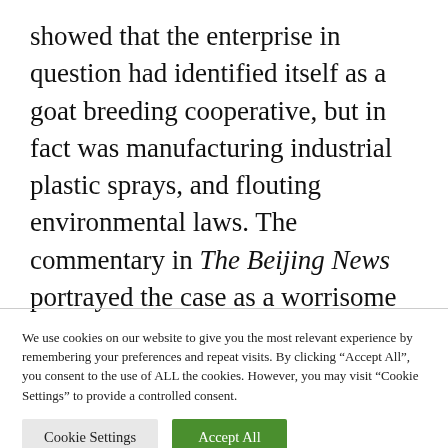showed that the enterprise in question had identified itself as a goat breeding cooperative, but in fact was manufacturing industrial plastic sprays, and flouting environmental laws. The commentary in The Beijing News portrayed the case as a worrisome disruption by local thugs (with the possible involvement or negligence of county officials) of a necessary process of
We use cookies on our website to give you the most relevant experience by remembering your preferences and repeat visits. By clicking "Accept All", you consent to the use of ALL the cookies. However, you may visit "Cookie Settings" to provide a controlled consent.